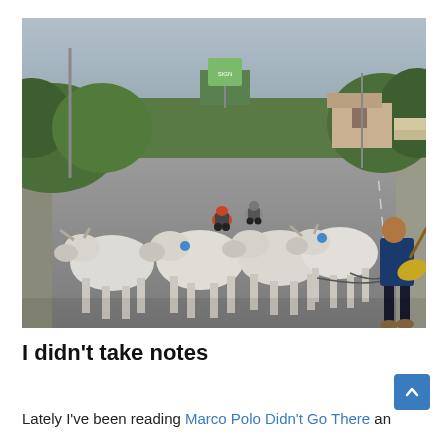[Figure (photo): A man herding several white Brahman cattle down a paved road in Southeast Asia. Motorcyclists are visible in the background, along with green vegetation, trees, and roadside buildings.]
I didn't take notes
Lately I've been reading Marco Polo Didn't Go There an